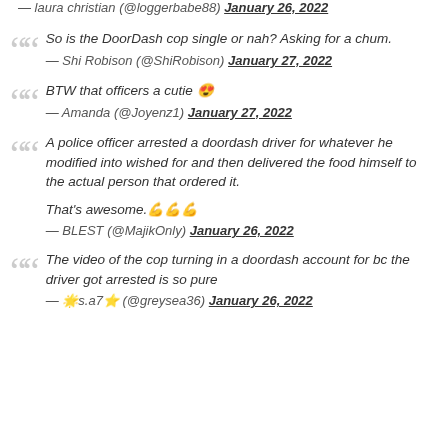— laura christian (@loggerbabe88) January 26, 2022
So is the DoorDash cop single or nah? Asking for a chum.
— Shi Robison (@ShiRobison) January 27, 2022
BTW that officers a cutie 😍
— Amanda (@Joyenz1) January 27, 2022
A police officer arrested a doordash driver for whatever he modified into wished for and then delivered the food himself to the actual person that ordered it.

That's awesome.💪💪💪
— BLEST (@MajikOnly) January 26, 2022
The video of the cop turning in a doordash account for bc the driver got arrested is so pure
— 🌟s.a7⭐ (@greysea36) January 26, 2022